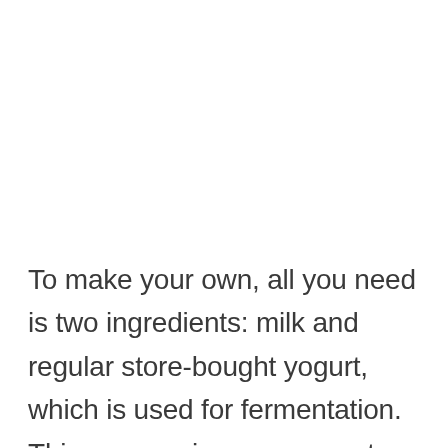To make your own, all you need is two ingredients: milk and regular store-bought yogurt, which is used for fermentation. This process is super easy, too. Once the milk is boiled and yogurt is added, all you have to do is let it sit for a few hours, and voilá!